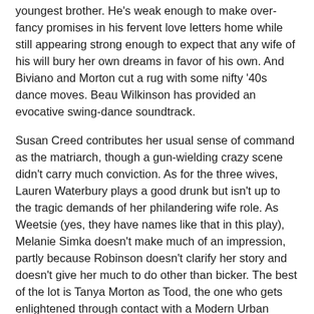youngest brother. He's weak enough to make over-fancy promises in his fervent love letters home while still appearing strong enough to expect that any wife of his will bury her own dreams in favor of his own. And Biviano and Morton cut a rug with some nifty '40s dance moves. Beau Wilkinson has provided an evocative swing-dance soundtrack.
Susan Creed contributes her usual sense of command as the matriarch, though a gun-wielding crazy scene didn't carry much conviction. As for the three wives, Lauren Waterbury plays a good drunk but isn't up to the tragic demands of her philandering wife role. As Weetsie (yes, they have names like that in this play), Melanie Simka doesn't make much of an impression, partly because Robinson doesn't clarify her story and doesn't give her much to do other than bicker. The best of the lot is Tanya Morton as Tood, the one who gets enlightened through contact with a Modern Urban Woman and learns to stand up for her dreams, even when her hubbie comes triumphantly home. Morton has a vulnerable quality that serves her well in scenes when she reluctantly has to confront others about their narrowness. Along with Nicholls' reporter, Tood's journey is the most interesting